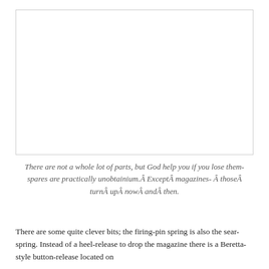[Figure (photo): A white/blank image area with a light border, presumably showing firearm parts or a gun component (image not rendered).]
There are not a whole lot of parts, but God help you if you lose them- spares are practically unobtainium.Â ExceptÂ magazines-Â thoseÂ turnÂ upÂ nowÂ andÂ then.
There are some quite clever bits; the firing-pin spring is also the sear-spring. Instead of a heel-release to drop the magazine there is a Beretta-style button-release located on